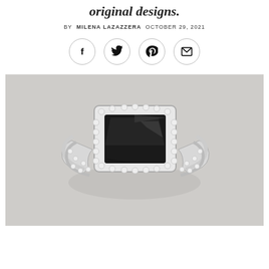original designs.
BY MILENA LAZAZZERA OCTOBER 29, 2021
[Figure (illustration): Four circular social media sharing icons: Facebook (f), Twitter (bird), Pinterest (p), and Email (envelope)]
[Figure (photo): A large black emerald-cut diamond ring with diamond halo and split shank band set in white gold/platinum, photographed on a light gray background.]